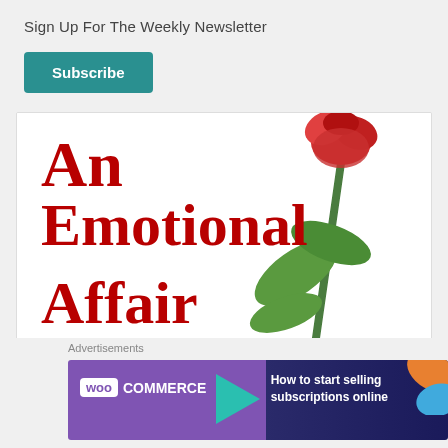Sign Up For The Weekly Newsletter
Subscribe
[Figure (illustration): Book cover for 'An Emotional Affair' by Ufuomaee, featuring large red serif title text and a decorative rose with green leaves on a white background.]
Advertisements
[Figure (screenshot): WooCommerce advertisement banner: 'How to start selling subscriptions online' with WooCommerce logo and colorful decorative shapes.]